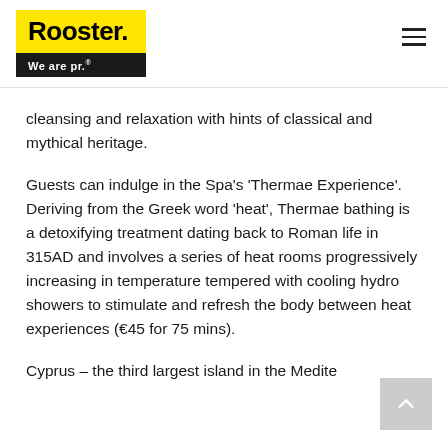Rooster. We are pr.
cleansing and relaxation with hints of classical and mythical heritage.
Guests can indulge in the Spa’s ‘Thermae Experience’. Deriving from the Greek word ‘heat’, Thermae bathing is a detoxifying treatment dating back to Roman life in 315AD and involves a series of heat rooms progressively increasing in temperature tempered with cooling hydro showers to stimulate and refresh the body between heat experiences (€45 for 75 mins).
Cyprus – the third largest island in the Mediterranean ...